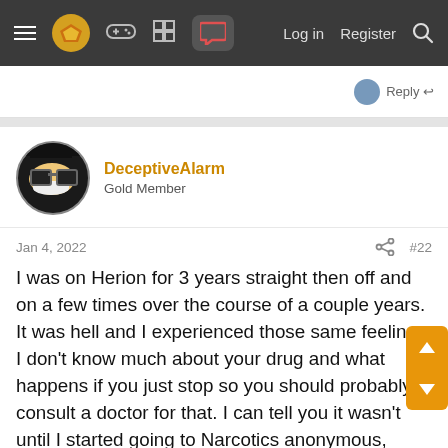Navigation bar with menu, logo, icons, Log in, Register, Search
DeceptiveAlarm
Gold Member
Jan 4, 2022  #22
I was on Herion for 3 years straight then off and on a few times over the course of a couple years. It was hell and I experienced those same feelings. I don't know much about your drug and what happens if you just stop so you should probably consult a doctor for that. I can tell you it wasn't until I started going to Narcotics anonymous, stopped taking and substance including pot and alcohol. Changed my friends. Some serious self work. That I was able to not turn back to herion. I got 8yrs this month. I don't go to as many meetings these days due to having my kids full time. I do though ride my motorcycle with guys that have the same time clean as